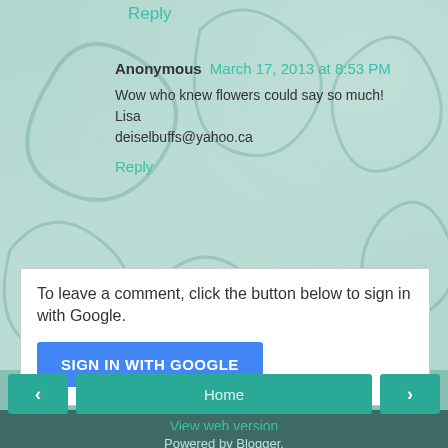Reply
Anonymous  March 17, 2013 at 8:53 PM
Wow who knew flowers could say so much!
Lisa
deiselbuffs@yahoo.ca
Reply
To leave a comment, click the button below to sign in with Google.
SIGN IN WITH GOOGLE
Home
View web version
Powered by Blogger.